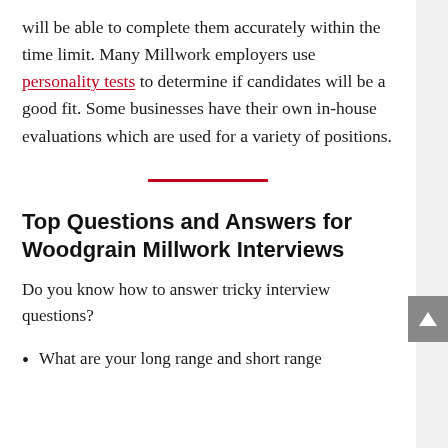will be able to complete them accurately within the time limit. Many Millwork employers use personality tests to determine if candidates will be a good fit. Some businesses have their own in-house evaluations which are used for a variety of positions.
Top Questions and Answers for Woodgrain Millwork Interviews
Do you know how to answer tricky interview questions?
What are your long range and short range